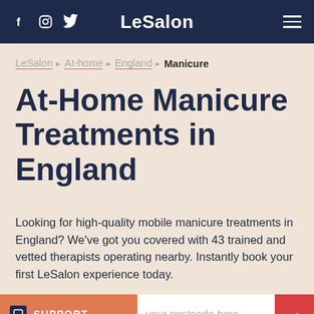LeSalon
LeSalon › At-home › England › Manicure
At-Home Manicure Treatments in England
Looking for high-quality mobile manicure treatments in England? We've got you covered with 43 trained and vetted therapists operating nearby. Instantly book your first LeSalon experience today.
SUPPORT   your postcode here